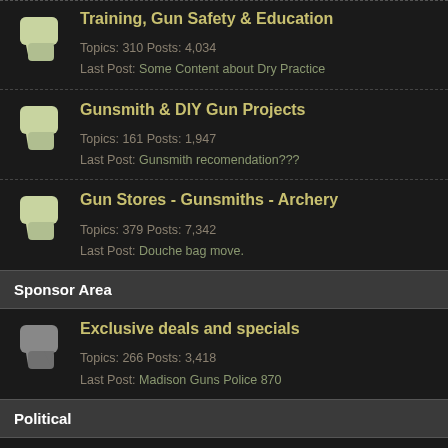Training, Gun Safety & Education — Topics: 310 Posts: 4,034 Last Post: Some Content about Dry Practice
Gunsmith & DIY Gun Projects — Topics: 161 Posts: 1,947 Last Post: Gunsmith recomendation???
Gun Stores - Gunsmiths - Archery — Topics: 379 Posts: 7,342 Last Post: Douche bag move.
Sponsor Area
Exclusive deals and specials — Topics: 266 Posts: 3,418 Last Post: Madison Guns Police 870
Political
New York State News